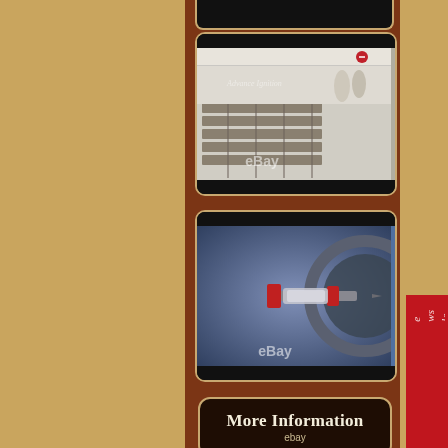[Figure (photo): Factory/manufacturing floor showing rows of industrial equipment and workers in white coats in background. eBay watermark visible. Framed in black border with gold trim.]
[Figure (photo): Close-up of a lathe or machining tool working on a spark plug or small metal component. Blue/blurred background. eBay watermark visible. Framed in black border with gold trim.]
[Figure (other): More Information button with eBay sub-label, dark background with gold border and cream text, on brown panel.]
[Figure (other): Partially visible bottom button/banner, dark with gold trim, partially cut off at bottom of page.]